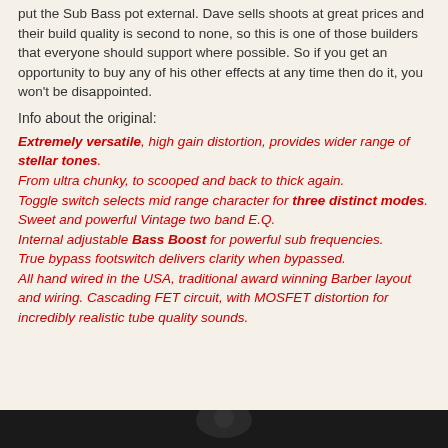put the Sub Bass pot external.  Dave sells shoots at great prices and their build quality is second to none, so this is one of those builders that everyone should support where possible.  So if you get an opportunity to buy any of his other effects at any time then do it, you won't be disappointed.
Info about the original:
Extremely versatile, high gain distortion, provides wider range of stellar tones.
From ultra chunky, to scooped and back to thick again.
Toggle switch selects mid range character for three distinct modes.
Sweet and powerful Vintage two band E.Q.
Internal adjustable Bass Boost for powerful sub frequencies.
True bypass footswitch delivers clarity when bypassed.
All hand wired in the USA, traditional award winning Barber layout and wiring. Cascading FET circuit, with MOSFET distortion for incredibly realistic tube quality sounds.
[Figure (photo): Dark image at the bottom of the page, partially visible]